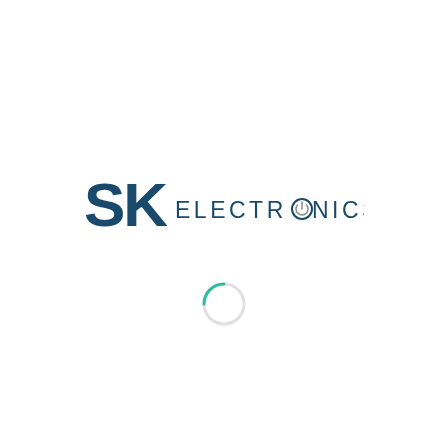[Figure (logo): SK Electronics company logo. 'SK' in large bold dark teal/navy serif letters, followed by 'ELECTRONICS' in smaller spaced uppercase letters, same dark teal color. The letter O in ELECTRONICS contains a power button icon symbol.]
[Figure (other): A loading spinner circle, partially teal/green arc on a light grey circle outline, centered below the logo.]